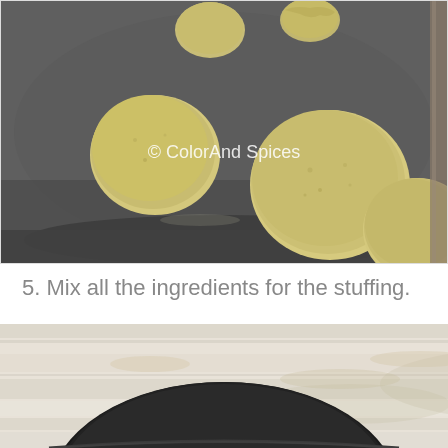[Figure (photo): Overhead view of small round dough balls on a dark metal baking tray, with a watermark reading '© ColorAnd Spices' in white text]
5. Mix all the ingredients for the stuffing.
[Figure (photo): Partial view of a dark round bowl or pan on a white wooden surface, cropped at the bottom of the frame]